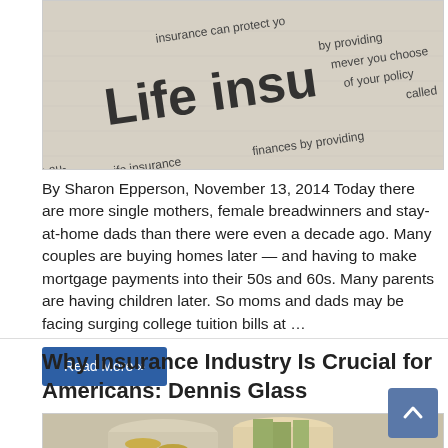[Figure (photo): Close-up photo of a 'Life Insurance' document/policy paper with printed text visible]
By Sharon Epperson, November 13, 2014 Today there are more single mothers, female breadwinners and stay-at-home dads than there were even a decade ago. Many couples are buying homes later — and having to make mortgage payments into their 50s and 60s. Many parents are having children later. So moms and dads may be facing surging college tuition bills at …
Read More »
Why Insurance Industry Is Crucial for Americans: Dennis Glass
[Figure (photo): Photo of glass jars filled with coins and money]